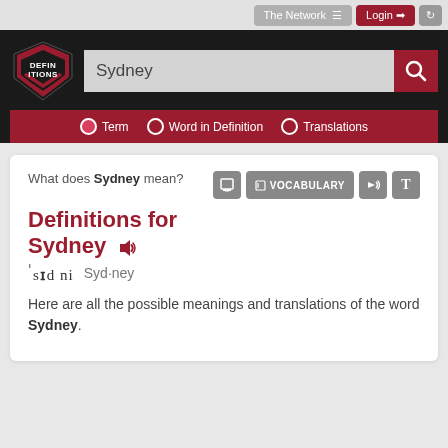The Network  Login
[Figure (screenshot): Definitions.net website header with logo, search bar containing 'Sydney', search button, and navigation tabs for Term, Word in Definition, Translations]
Definitions for Sydney
What does Sydney mean?
'sɪdni  Syd·ney
Here are all the possible meanings and translations of the word Sydney.